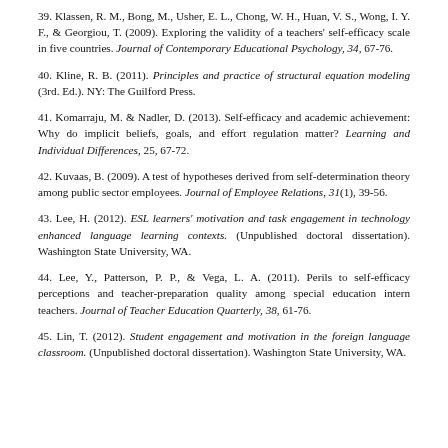39. Klassen, R. M., Bong, M., Usher, E. L., Chong, W. H., Huan, V. S., Wong, I. Y. F., & Georgiou, T. (2009). Exploring the validity of a teachers' self-efficacy scale in five countries. Journal of Contemporary Educational Psychology, 34, 67-76.
40. Kline, R. B. (2011). Principles and practice of structural equation modeling (3rd. Ed.). NY: The Guilford Press.
41. Komarraju, M. & Nadler, D. (2013). Self-efficacy and academic achievement: Why do implicit beliefs, goals, and effort regulation matter? Learning and Individual Differences, 25, 67-72.
42. Kuvaas, B. (2009). A test of hypotheses derived from self-determination theory among public sector employees. Journal of Employee Relations, 31(1), 39-56.
43. Lee, H. (2012). ESL learners' motivation and task engagement in technology enhanced language learning contexts. (Unpublished doctoral dissertation). Washington State University, WA.
44. Lee, Y., Patterson, P. P., & Vega, L. A. (2011). Perils to self-efficacy perceptions and teacher-preparation quality among special education intern teachers. Journal of Teacher Education Quarterly, 38, 61-76.
45. Lin, T. (2012). Student engagement and motivation in the foreign language classroom. (Unpublished doctoral dissertation). Washington State University, WA.